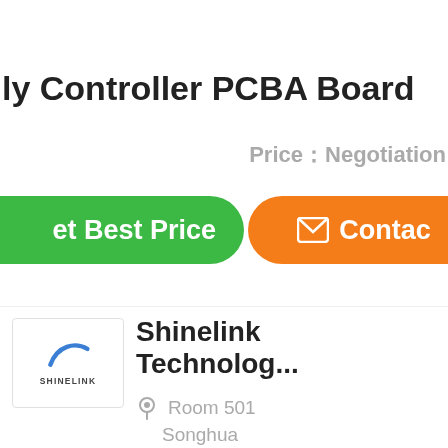ly Controller PCBA Board
Price：Negotiation
et Best Price
Contac
[Figure (logo): Shinelink company logo with swoosh graphic and SHINELINK text]
Shinelink Technolog...
Room 501
Songhua